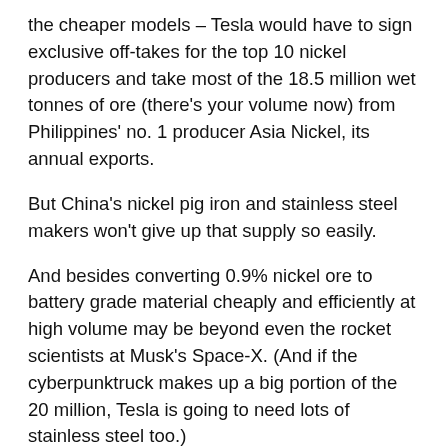the cheaper models – Tesla would have to sign exclusive off-takes for the top 10 nickel producers and take most of the 18.5 million wet tonnes of ore (there's your volume now) from Philippines' no. 1 producer Asia Nickel, its annual exports.
But China's nickel pig iron and stainless steel makers won't give up that supply so easily.
And besides converting 0.9% nickel ore to battery grade material cheaply and efficiently at high volume may be beyond even the rocket scientists at Musk's Space-X. (And if the cyberpunktruck makes up a big portion of the 20 million, Tesla is going to need lots of stainless steel too.)